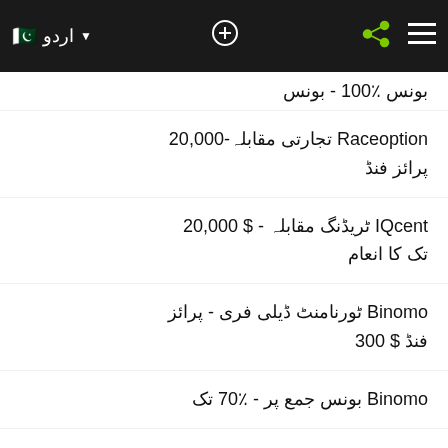اردو - navigation bar with search, share, and menu icons
بونس ٪100 - بونس
Raceoption تجارتی مقابلہ-20,000 پرائز فنڈ
IQcent ٹریڈنگ مقابلہ - $ 20,000 تک کا انعام
Binomo ٹورنامنٹ ڈیلی فری - پرائز فنڈ $ 300
Binomo بونس جمع پر - ٪70 تک